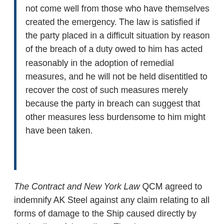not come well from those who have themselves created the emergency. The law is satisfied if the party placed in a difficult situation by reason of the breach of a duty owed to him has acted reasonably in the adoption of remedial measures, and he will not be held disentitled to recover the cost of such measures merely because the party in breach can suggest that other measures less burdensome to him might have been taken.
The Contract and New York Law QCM agreed to indemnify AK Steel against any claim relating to all forms of damage to the Ship caused directly by the loading of the pellets. The damage was caused by the loading of pellets that could not be offloaded through the Ship's self-unloading equipment. In